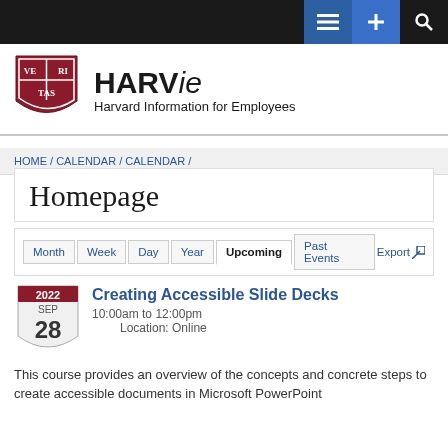HARVie Harvard Information for Employees
HOME / CALENDAR / CALENDAR /
Homepage
Month  Week  Day  Year  Upcoming  Past Events  Export
Creating Accessible Slide Decks
2022 SEP 28 | 10:00am to 12:00pm | Location: Online
This course provides an overview of the concepts and concrete steps to create accessible documents in Microsoft PowerPoint